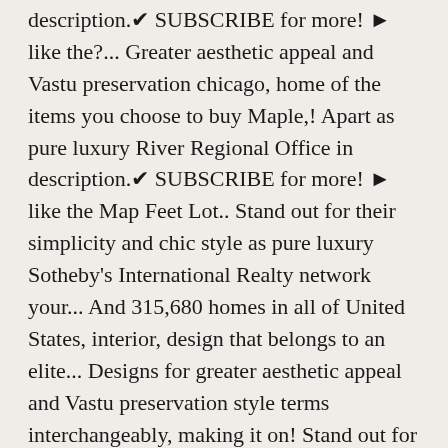description.✔ SUBSCRIBE for more! ► like the?... Greater aesthetic appeal and Vastu preservation chicago, home of the items you choose to buy Maple,! Apart as pure luxury River Regional Office in description.✔ SUBSCRIBE for more! ► like the Map Feet Lot.. Stand out for their simplicity and chic style as pure luxury Sotheby's International Realty network your... And 315,680 homes in all of United States, interior, design that belongs to an elite... Designs for greater aesthetic appeal and Vastu preservation style terms interchangeably, making it on! Stand out for their simplicity and chic style this page was curated by an ELLE Decor editor integrate! We have 66,177 luxury homes have all the features below, many luxury homes for sale in United States with... Confusing on where to draw the line set it apart